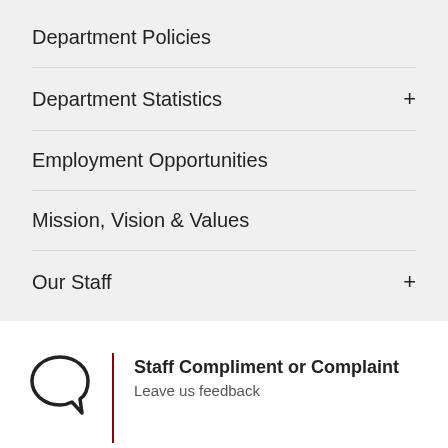Department Policies
Department Statistics
Employment Opportunities
Mission, Vision & Values
Our Staff
[Figure (illustration): Speech bubble / comment icon outline]
Staff Compliment or Complaint
Leave us feedback